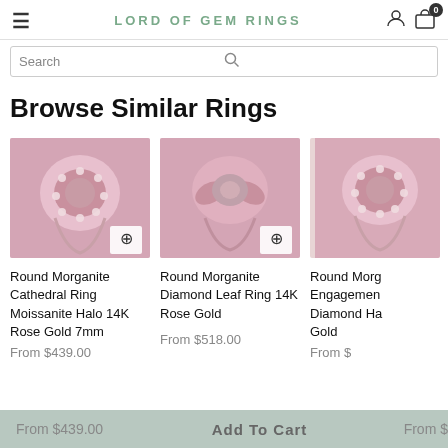LORD OF GEM RINGS
Search
Browse Similar Rings
[Figure (photo): Round Morganite Cathedral Ring with Moissanite Halo in 14K Rose Gold 7mm, rose pink background]
Round Morganite Cathedral Ring Moissanite Halo 14K Rose Gold 7mm
From $439.00
[Figure (photo): Round Morganite Diamond Leaf Ring 14K Rose Gold, rose pink background]
Round Morganite Diamond Leaf Ring 14K Rose Gold
From $518.00
[Figure (photo): Round Morganite Engagement Ring with Diamond Halo in Rose Gold, partially cropped]
Round Morg Engagement Diamond Ha Gold
From $
Add To Cart